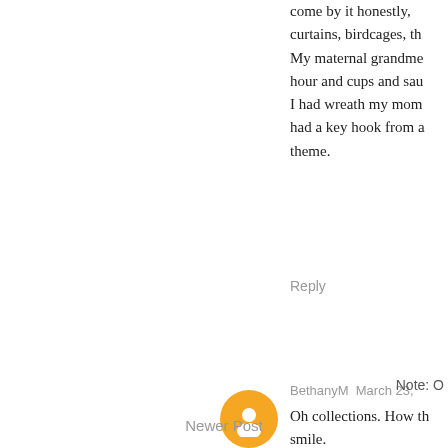come by it honestly, curtains, birdcages, th My maternal grandme hour and cups and sau I had wreath my mom had a key hook from a theme.
Reply
BethanyM  March 23,
Oh collections. How th smile.
Reply
Note: O
Newer Post